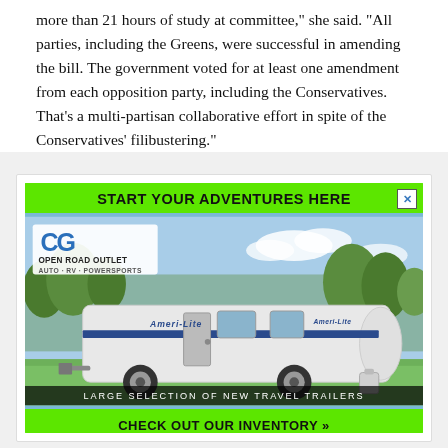more than 21 hours of study at committee," she said. "All parties, including the Greens, were successful in amending the bill. The government voted for at least one amendment from each opposition party, including the Conservatives. That's a multi-partisan collaborative effort in spite of the Conservatives' filibustering."
[Figure (photo): Advertisement for CG Open Road Outlet - Auto, RV, Powersports. Green banner reading 'START YOUR ADVENTURES HERE', photo of an Ameri-Lite travel trailer RV on grass with trees in background, text 'LARGE SELECTION OF NEW TRAVEL TRAILERS', green footer 'CHECK OUT OUR INVENTORY »']